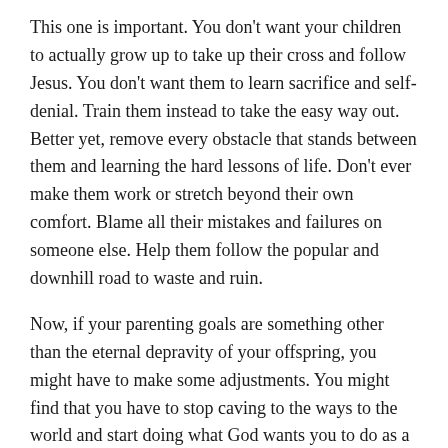This one is important. You don't want your children to actually grow up to take up their cross and follow Jesus. You don't want them to learn sacrifice and self-denial. Train them instead to take the easy way out. Better yet, remove every obstacle that stands between them and learning the hard lessons of life. Don't ever make them work or stretch beyond their own comfort. Blame all their mistakes and failures on someone else. Help them follow the popular and downhill road to waste and ruin.
Now, if your parenting goals are something other than the eternal depravity of your offspring, you might have to make some adjustments. You might find that you have to stop caving to the ways to the world and start doing what God wants you to do as a parent. You might have to buck up and get serious about faith yourself. You might want to include the help of a Bible-teaching church that calls you to follow Jesus fully. Maybe you will have to acknowledge your own imperfections and inadequacies and begin to seek the help